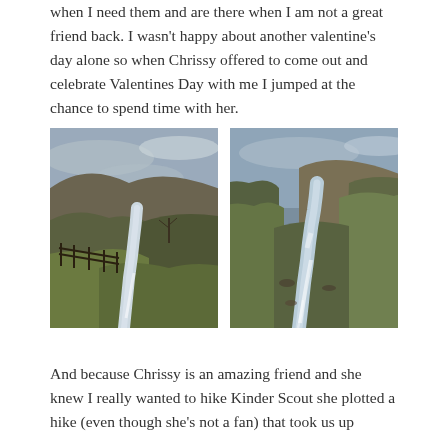when I need them and are there when I am not a great friend back. I wasn't happy about another valentine's day alone so when Chrissy offered to come out and celebrate Valentines Day with me I jumped at the chance to spend time with her.
[Figure (photo): Landscape photo of a rocky stream flowing through a valley with rolling brown hills and a wooden fence on the left side, under an overcast grey-blue sky.]
[Figure (photo): Landscape photo of a rocky stream flowing through a narrow valley with steep grass and bracken covered hillsides, under a pale blue-grey sky.]
And because Chrissy is an amazing friend and she knew I really wanted to hike Kinder Scout she plotted a hike (even though she's not a fan) that took us up